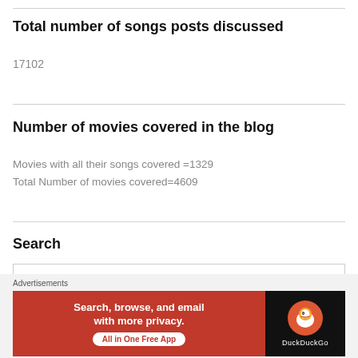Total number of songs posts discussed
17102
Number of movies covered in the blog
Movies with all their songs covered =1329
Total Number of movies covered=4609
Search
Search
Advertisements
[Figure (infographic): DuckDuckGo advertisement banner: orange background with text 'Search, browse, and email with more privacy. All in One Free App' and DuckDuckGo logo on dark right panel]